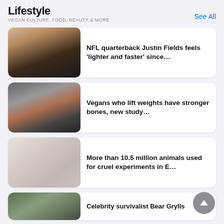Lifestyle
VEGAN CULTURE, FOOD, BEAUTY & MORE
See All
[Figure (photo): A smiling man wearing a dark cap and black shirt, pointing upward, seated indoors.]
NFL quarterback Justin Fields feels 'lighter and faster' since…
[Figure (photo): A person lifting a barbell with heavy weights on a gym floor with dark tiles.]
Vegans who lift weights have stronger bones, new study…
[Figure (photo): A lab researcher in white gloves holding a white rat, suggesting animal experimentation.]
More than 10.5 million animals used for cruel experiments in E…
[Figure (photo): A man outdoors near stone wall, partially visible, suggesting a survivalist or outdoor setting.]
Celebrity survivalist Bear Grylls